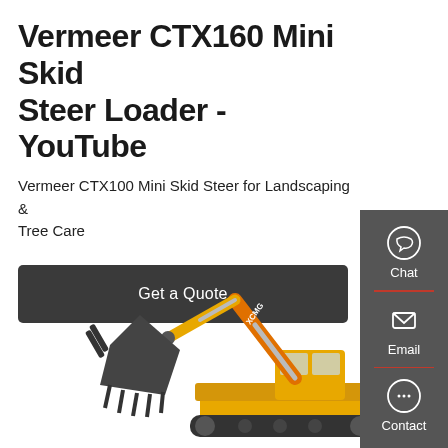Vermeer CTX160 Mini Skid Steer Loader - YouTube
Vermeer CTX100 Mini Skid Steer for Landscaping & Tree Care
Get a Quote
[Figure (photo): Yellow XCMG excavator/crawler with a large bucket attachment, arm raised, shown against white background]
[Figure (infographic): Gray sidebar with Chat, Email, and Contact icons and labels, separated by red dividers]